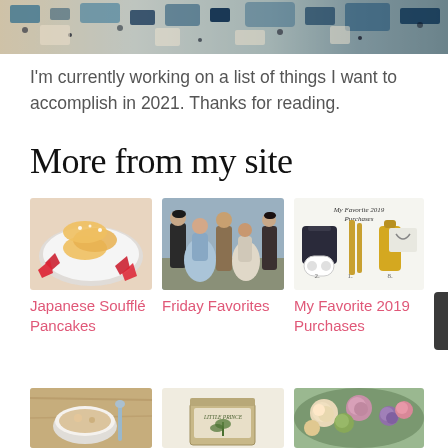[Figure (photo): Close-up of a blue and cream patterned area rug, partially visible at top of page]
I'm currently working on a list of things I want to accomplish in 2021. Thanks for reading.
More from my site
[Figure (photo): Japanese Soufflé Pancakes – pancakes with strawberries on a plate]
[Figure (photo): Friday Favorites – group of people in period costume (Bridgerton-style)]
[Figure (photo): My Favorite 2019 Purchases – collage of products including a backpack, mascara, earbuds, and oil bottle]
Japanese Soufflé Pancakes
Friday Favorites
My Favorite 2019 Purchases
[Figure (photo): Bowl of soup or oatmeal with spoon, top-down view]
[Figure (photo): Little Prince branded box or tin]
[Figure (photo): Bouquet of flowers including roses and purple blooms]